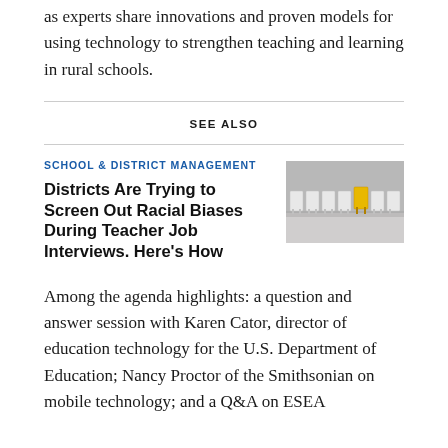as experts share innovations and proven models for using technology to strengthen teaching and learning in rural schools.
SEE ALSO
SCHOOL & DISTRICT MANAGEMENT
Districts Are Trying to Screen Out Racial Biases During Teacher Job Interviews. Here's How
[Figure (photo): Row of white chairs with one yellow chair standing out among them, on a gray background.]
Among the agenda highlights: a question and answer session with Karen Cator, director of education technology for the U.S. Department of Education; Nancy Proctor of the Smithsonian on mobile technology; and a Q&A on ESEA